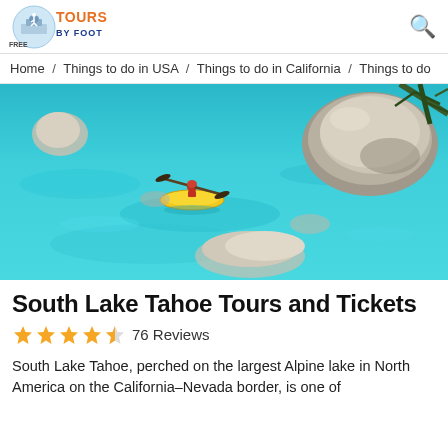[Figure (logo): Free Tours By Foot logo — circular emblem with a walking figure, orange and blue text]
Home / Things to do in USA / Things to do in California / Things to do
[Figure (photo): Aerial view of clear turquoise Lake Tahoe water with boulders and a person kayaking in a yellow kayak]
South Lake Tahoe Tours and Tickets
★★★★½ 76 Reviews
South Lake Tahoe, perched on the largest Alpine lake in North America on the California–Nevada border, is one of